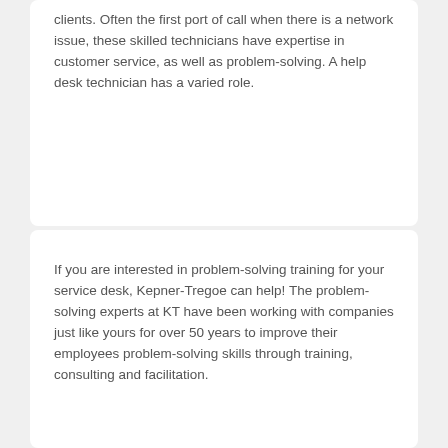clients. Often the first port of call when there is a network issue, these skilled technicians have expertise in customer service, as well as problem-solving. A help desk technician has a varied role.
If you are interested in problem-solving training for your service desk, Kepner-Tregoe can help! The problem-solving experts at KT have been working with companies just like yours for over 50 years to improve their employees problem-solving skills through training, consulting and facilitation.